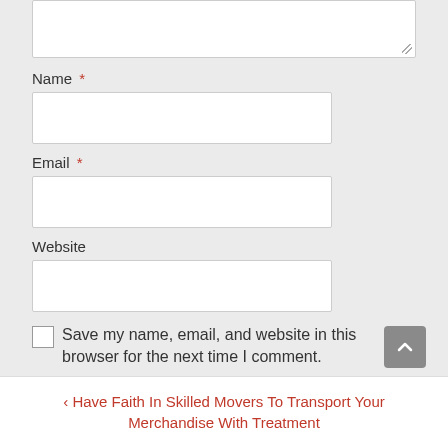[Figure (screenshot): Textarea input stub at top of page (partially visible), with resize handle at bottom-right corner]
Name *
[Figure (screenshot): Text input field for Name]
Email *
[Figure (screenshot): Text input field for Email]
Website
[Figure (screenshot): Text input field for Website]
Save my name, email, and website in this browser for the next time I comment.
POST COMMENT
< Have Faith In Skilled Movers To Transport Your Merchandise With Treatment